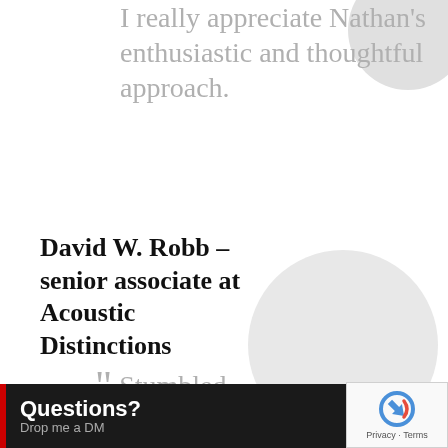I really appreciate Nathan's enthusiastic and thoughtful approach.
David W. Robb – senior associate at Acoustic Distinctions
“ Stumbled
e Sound Design rview with Bob
[Figure (other): Gray circle decorative element top right]
[Figure (other): Gray circle decorative element middle right]
[Figure (other): reCAPTCHA privacy badge bottom right]
Questions? Drop me a DM